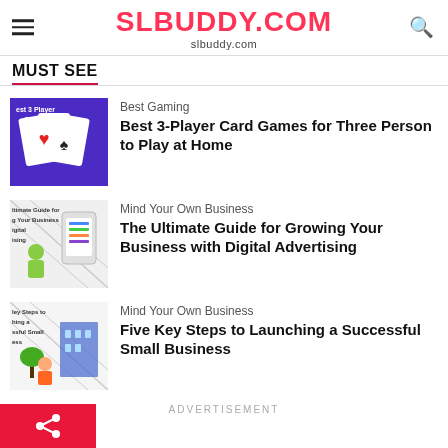SLBUDDY.COM slbuddy.com
MUST SEE
[Figure (illustration): Thumbnail image for Best 3 Player Card Games article showing playing cards on purple background]
Best Gaming
Best 3-Player Card Games for Three Person to Play at Home
[Figure (illustration): Thumbnail image for Ultimate Guide for Growing Your Business with Digital Advertising showing a person with a phone]
Mind Your Own Business
The Ultimate Guide for Growing Your Business with Digital Advertising
[Figure (illustration): Thumbnail image for Five Key Steps to Launching a Successful Small Business showing a person with plants and buildings]
Mind Your Own Business
Five Key Steps to Launching a Successful Small Business
ADVERTISEMENT